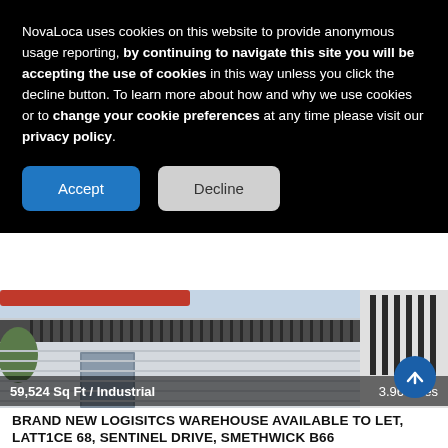NovaLoca uses cookies on this website to provide anonymous usage reporting, by continuing to navigate this site you will be accepting the use of cookies in this way unless you click the decline button. To learn more about how and why we use cookies or to change your cookie preferences at any time please visit our privacy policy.
[Figure (photo): Exterior photo of a modern industrial/logistics warehouse building with grey corrugated cladding and dark louvred ventilation panels along the roofline]
59,524 Sq Ft / Industrial
3.96 miles
BRAND NEW LOGISITCS WAREHOUSE AVAILABLE TO LET, LATT1CE 68, Sentinel Drive, Smethwick B66